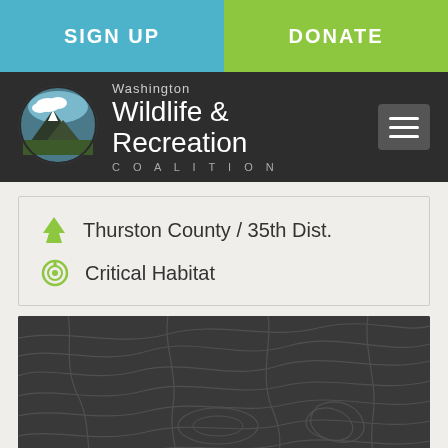SIGN UP  |  DONATE
[Figure (logo): Washington Wildlife & Recreation Coalition logo with circular mountain/tree emblem]
Thurston County / 35th Dist.
Critical Habitat
[Figure (map): Topographic map with dark background and contour lines]